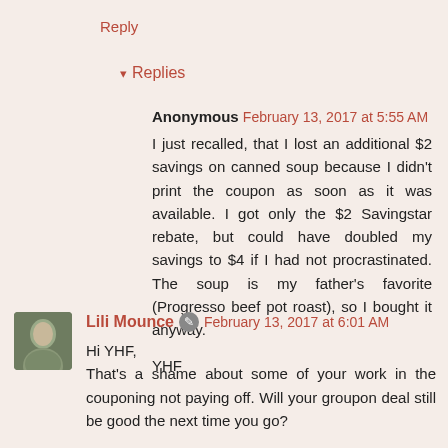Reply
▾ Replies
Anonymous February 13, 2017 at 5:55 AM
I just recalled, that I lost an additional $2 savings on canned soup because I didn't print the coupon as soon as it was available. I got only the $2 Savingstar rebate, but could have doubled my savings to $4 if I had not procrastinated. The soup is my father's favorite (Progresso beef pot roast), so I bought it anyway.

YHF
Lili Mounce ✎ February 13, 2017 at 6:01 AM
Hi YHF,
That's a shame about some of your work in the couponing not paying off. Will your groupon deal still be good the next time you go?